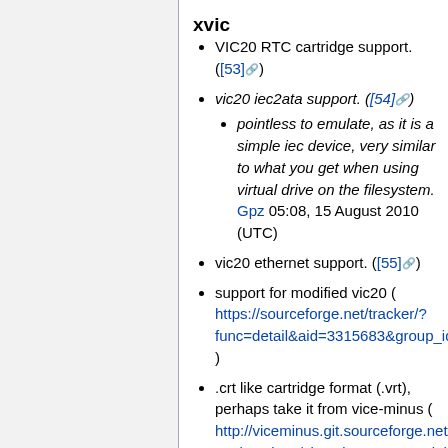xvic
VIC20 RTC cartridge support. ([53])
vic20 iec2ata support. ([54])
pointless to emulate, as it is a simple iec device, very similar to what you get when using virtual drive on the filesystem. Gpz 05:08, 15 August 2010 (UTC)
vic20 ethernet support. ([55])
support for modified vic20 ( https://sourceforge.net/tracker/?func=detail&aid=3315683&group_id=223021&atid=1057620 )
.crt like cartridge format (.vrt), perhaps take it from vice-minus ( http://viceminus.git.sourceforge.net/git/gitweb.cgi?p=viceminus/viceminus;a=commit;h=